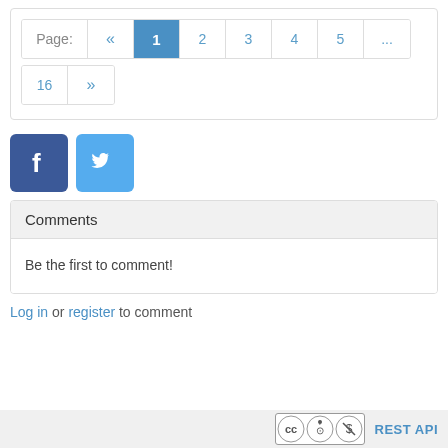[Figure (other): Pagination control with Page label, left arrow, active page 1 (highlighted blue), pages 2 3 4 5, ellipsis, then row 2 with 16 and right arrow]
[Figure (other): Social media share buttons: Facebook (blue square with f) and Twitter (lighter blue square with bird icon)]
Comments
Be the first to comment!
Log in or register to comment
[Figure (logo): Creative Commons BY NC license badge and REST API link in footer]